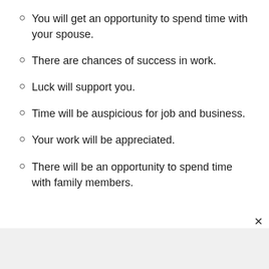You will get an opportunity to spend time with your spouse.
There are chances of success in work.
Luck will support you.
Time will be auspicious for job and business.
Your work will be appreciated.
There will be an opportunity to spend time with family members.